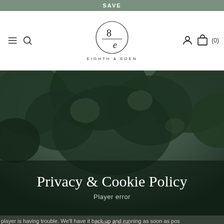SAVE
[Figure (logo): Eighth & Eden logo — circle with stylized 8 over e, text EIGHTH & EDEN below]
Privacy & Cookie Policy
[Figure (photo): Dark forest/tree canopy background hero image with player error overlay]
Player error
player is having trouble. We'll have it back up and running as soon as pos
Eighth & Eden